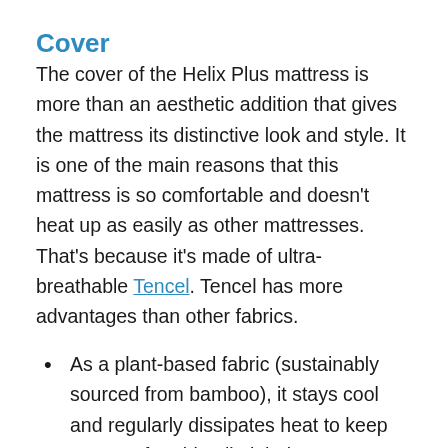Cover
The cover of the Helix Plus mattress is more than an aesthetic addition that gives the mattress its distinctive look and style. It is one of the main reasons that this mattress is so comfortable and doesn’t heat up as easily as other mattresses. That’s because it’s made of ultra-breathable Tencel. Tencel has more advantages than other fabrics.
As a plant-based fabric (sustainably sourced from bamboo), it stays cool and regularly dissipates heat to keep you comfortable all night long.
It’s more breathable, which promotes